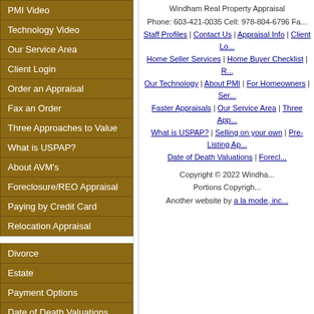PMI Video
Technology Video
Our Service Area
Client Login
Order an Appraisal
Fax an Order
Three Approaches to Value
What is USPAP?
About AVM's
Foreclosure/REO Appraisal
Paying by Credit Card
Relocation Appraisal
Divorce
Estate
Payment Options
Date of Death Valuations
FHA Approved
Windham Real Property Appraisal Phone: 603-421-0035 Cell: 978-804-6796 Fax: Staff Profiles | Contact Us | Appraisal Info | Client Lo... Home Seller Services | Home Buyer Checklist | R... Our Technology | About PMI | For Homeowners | Ser... Faster Appraisals | Our Service Area | Three App... What is USPAP? | Selling on your own | Pre-Listing Ap... Date of Death Valuations | Forecl...
Copyright © 2022 Windha... Portions Copyrigh... Another website by a la mode, inc...